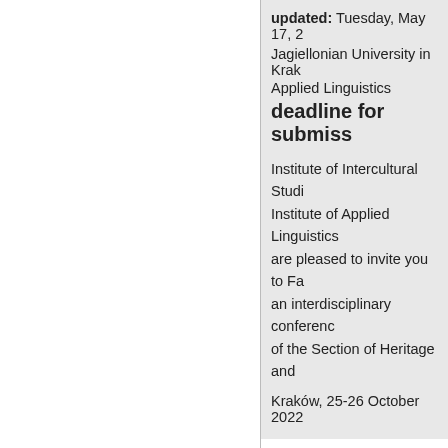updated: Tuesday, May 17, 2
Jagiellonian University in Krak
Applied Linguistics
deadline for submiss
Institute of Intercultural Studi Institute of Applied Linguistics are pleased to invite you to Fa an interdisciplinary conference of the Section of Heritage and
Kraków, 25-26 October 2022
Special Issue of JBW:
updated: Tuesday, May 17, 2
Journal of Basic Writing
deadline for submiss